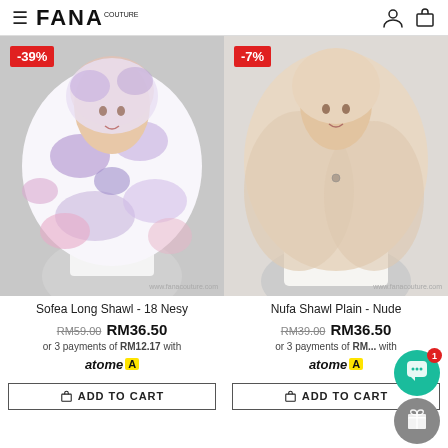FANA Couture — navigation header with hamburger menu, brand logo, user icon, cart icon
[Figure (photo): Product photo of Sofea Long Shawl - 18 Nesy, a purple/lavender floral printed shawl worn by a model, with -39% discount badge]
Sofea Long Shawl - 18 Nesy
RM59.00 RM36.50
or 3 payments of RM12.17 with
atome
ADD TO CART
[Figure (photo): Product photo of Nufa Shawl Plain in beige/nude color worn by a model, with -7% discount badge]
Nufa Shawl Plain - Nude
RM39.00 RM36.50
or 3 payments of RM... with
atome
ADD TO CART